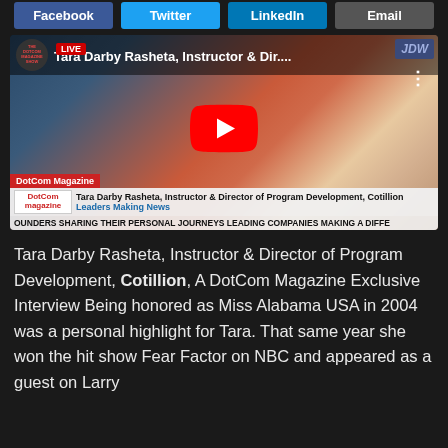Facebook | Twitter | LinkedIn | Email
[Figure (screenshot): YouTube video thumbnail showing Tara Darby Rasheta, Instructor & Director of Program Development, Cotillion. DotCom Magazine interview. LIVE badge visible. Red play button in center. Lower third shows name, title, and Leaders Making News banner. Ticker reads: OUNDERS SHARING THEIR PERSONAL JOURNEYS LEADING COMPANIES MAKING A DIFFE]
Tara Darby Rasheta, Instructor & Director of Program Development, Cotillion, A DotCom Magazine Exclusive Interview Being honored as Miss Alabama USA in 2004 was a personal highlight for Tara. That same year she won the hit show Fear Factor on NBC and appeared as a guest on Larry